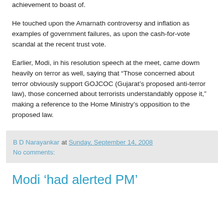achievement to boast of.
He touched upon the Amarnath controversy and inflation as examples of government failures, as upon the cash-for-vote scandal at the recent trust vote.
Earlier, Modi, in his resolution speech at the meet, came dowm heavily on terror as well, saying that “Those concerned about terror obviously support GOJCOC (Gujarat’s proposed anti-terror law), those concerned about terrorists understandably oppose it,” making a reference to the Home Ministry’s opposition to the proposed law.
B D Narayankar at Sunday, September 14, 2008
No comments:
Modi ‘had alerted PM’